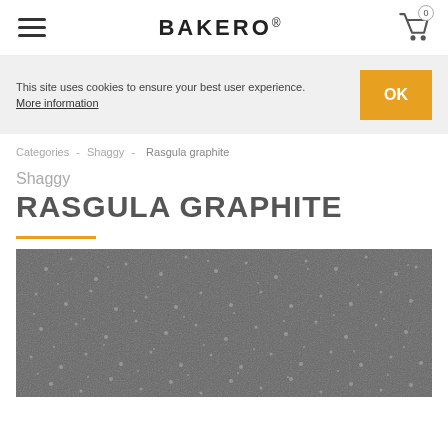BAKERO®
This site uses cookies to ensure your best user experience. More information
OK
Categories - Shaggy - Rasgula graphite
Shaggy RASGULA GRAPHITE
[Figure (photo): Close-up texture photo of a dark graphite shaggy rug with a speckled dark grey and white/cream pattern]